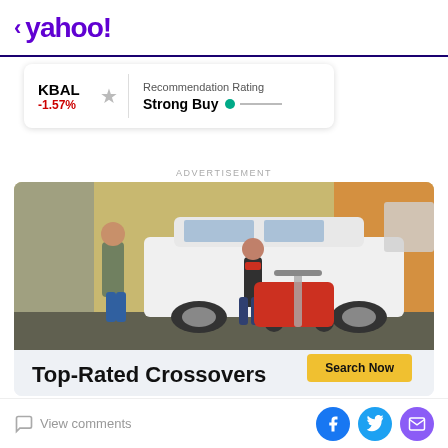< yahoo!
| Ticker | Change |  | Rating Label | Rating Value |
| --- | --- | --- | --- | --- |
| KBAL | -1.57% | ☆ | Recommendation Rating | Strong Buy ●—— |
ADVERTISEMENT
[Figure (photo): A man and woman loading a red stroller into the back of a white SUV crossover in an autumn setting. Advertisement for Top-Rated Crossovers.]
Top-Rated Crossovers
Search Now
View comments  [Facebook] [Twitter] [Email]